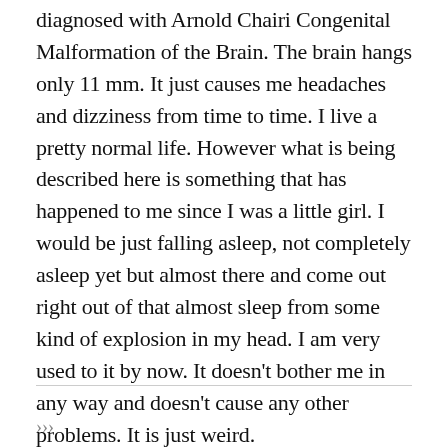diagnosed with Arnold Chairi Congenital Malformation of the Brain. The brain hangs only 11 mm. It just causes me headaches and dizziness from time to time. I live a pretty normal life. However what is being described here is something that has happened to me since I was a little girl. I would be just falling asleep, not completely asleep yet but almost there and come out right out of that almost sleep from some kind of explosion in my head. I am very used to it by now. It doesn't bother me in any way and doesn't cause any other problems. It is just weird.